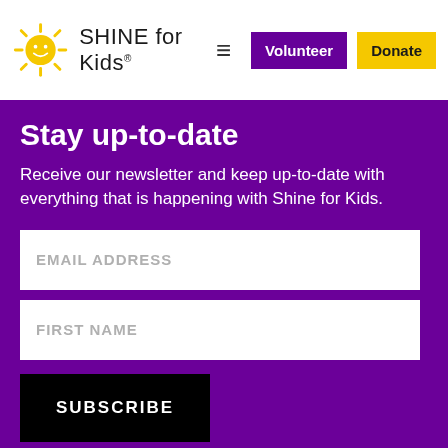[Figure (logo): SHINE for Kids logo with yellow sun icon and text 'SHINE for Kids' in navbar]
Stay up-to-date
Receive our newsletter and keep up-to-date with everything that is happening with Shine for Kids.
EMAIL ADDRESS
FIRST NAME
SUBSCRIBE
Copyright © Shine for Kids | Privacy | Terms and conditions | Design and developed by macintype.design